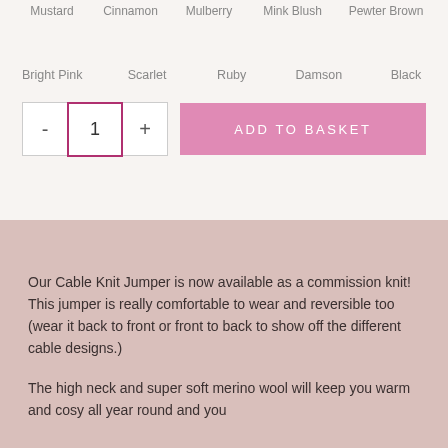Mustard  Cinnamon  Mulberry  Mink Blush  Pewter Brown
Bright Pink  Scarlet  Ruby  Damson  Black
ADD TO BASKET
Our Cable Knit Jumper is now available as a commission knit! This jumper is really comfortable to wear and reversible too (wear it back to front or front to back to show off the different cable designs.)
The high neck and super soft merino wool will keep you warm and cosy all year round and you